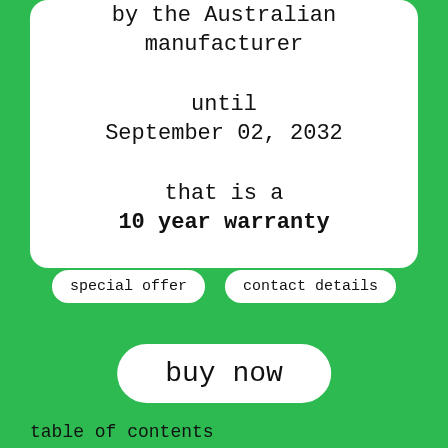by the Australian manufacturer

until
September 02, 2032

that is a
10 year warranty
special offer
contact details
buy now
table of contents